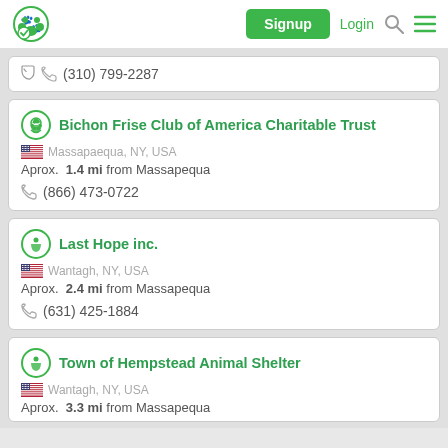Signup | Login | [search] [menu]
(310) 799-2287
Bichon Frise Club of America Charitable Trust
Massapaequa, NY, USA
Aprox. 1.4 mi from Massapequa
(866) 473-0722
Last Hope inc.
Wantagh, NY, USA
Aprox. 2.4 mi from Massapequa
(631) 425-1884
Town of Hempstead Animal Shelter
Wantagh, NY, USA
Aprox. 3.3 mi from Massapequa